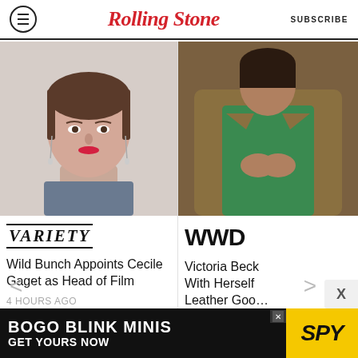Rolling Stone | SUBSCRIBE
[Figure (photo): Headshot of Cecile Gaget, woman with short brown hair and red lipstick wearing drop earrings and a blue top]
[Figure (logo): Variety logo in italic serif uppercase]
Wild Bunch Appoints Cecile Gaget as Head of Film
4 HOURS AGO
[Figure (photo): Person in olive/brown jacket with green underneath, holding hands together]
[Figure (logo): WWD logo in bold sans-serif]
Victoria Beck With Herself Leather Goo…
4 HOURS AGO
[Figure (infographic): BOGO BLINK MINIS GET YOURS NOW advertisement with SPY logo on yellow background]